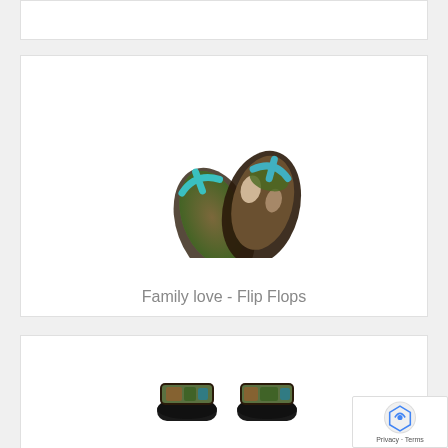[Figure (photo): Partial product card at top, cropped]
[Figure (photo): Flip flops with family photo printed on them — two overlapping sandals with green, brown, teal colors]
Family love - Flip Flops
[Figure (photo): Slide-on sandals with family photo printed on the strap — black soles with colorful photo strap]
Family love - Slide On Sandals